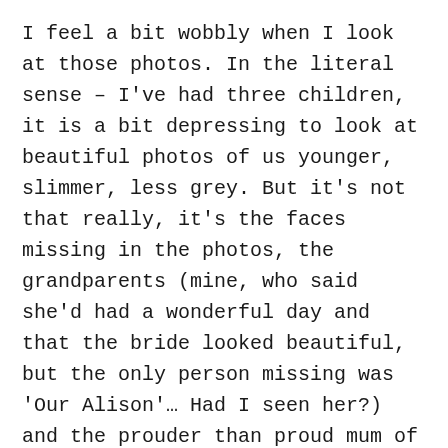I feel a bit wobbly when I look at those photos. In the literal sense – I've had three children, it is a bit depressing to look at beautiful photos of us younger, slimmer, less grey. But it's not that really, it's the faces missing in the photos, the grandparents (mine, who said she'd had a wonderful day and that the bride looked beautiful, but the only person missing was 'Our Alison'… Had I seen her?) and the prouder than proud mum of the groom, looking stunning in her hat, the one I swore to never tell anyone how